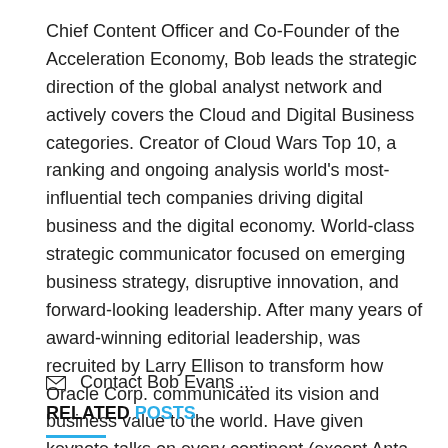Chief Content Officer and Co-Founder of the Acceleration Economy, Bob leads the strategic direction of the global analyst network and actively covers the Cloud and Digital Business categories. Creator of Cloud Wars Top 10, a ranking and ongoing analysis world's most-influential tech companies driving digital business and the digital economy. World-class strategic communicator focused on emerging business strategy, disruptive innovation, and forward-looking leadership. After many years of award-winning editorial leadership, was recruited by Larry Ellison to transform how Oracle Corp. communicated its vision and business value to the world. Have given keynote talks on every continent (except Anta
✉ Contact Bob Evans ...
RELATED POSTS